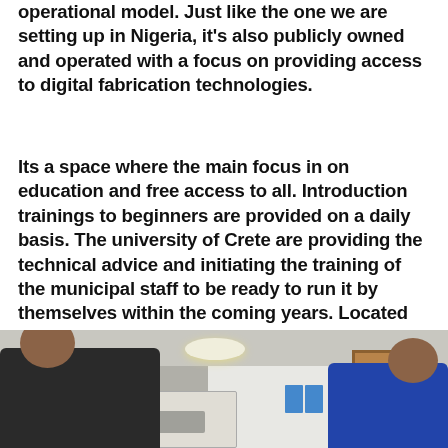operational model. Just like the one we are setting up in Nigeria, it's also publicly owned and operated with a focus on providing access to digital fabrication technologies.
Its a space where the main focus in on education and free access to all. Introduction trainings to beginners are provided on a daily basis. The university of Crete are providing the technical advice and initiating the training of the municipal staff to be ready to run it by themselves within the coming years. Located close to the center of Athens and only 15min drive from Astrolab it has proved a good operational partner.
[Figure (photo): Two men leaning over equipment in a bright white interior space with ceiling light fixture, air conditioning unit, and blue items on the wall.]